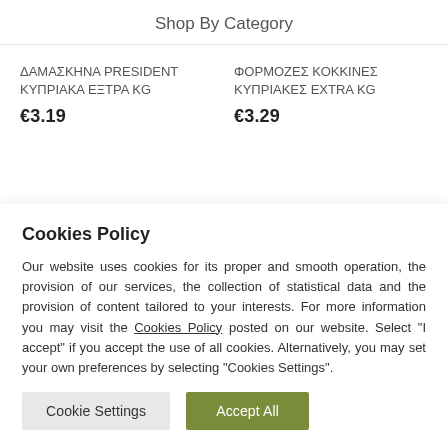Shop By Category
ΔΑΜΑΣΚΗΝΑ PRESIDENT ΚΥΠΡΙΑΚΑ ΕΞΤΡΑ KG
ΦΟΡΜΟΖΕΣ ΚΟΚΚΙΝΕΣ ΚΥΠΡΙΑΚΕΣ EXTRA KG
€3.19
€3.29
Cookies Policy
Our website uses cookies for its proper and smooth operation, the provision of our services, the collection of statistical data and the provision of content tailored to your interests. For more information you may visit the Cookies Policy posted on our website. Select "I accept" if you accept the use of all cookies. Alternatively, you may set your own preferences by selecting "Cookies Settings".
Cookie Settings
Accept All